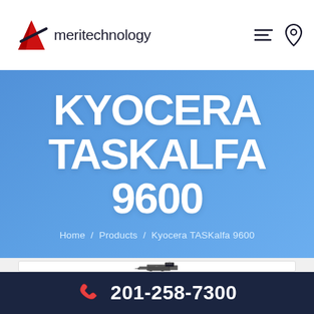Ameritechnology
KYOCERA TASKALFA 9600
Home / Products / Kyocera TASKalfa 9600
[Figure (photo): Kyocera TASKalfa 9600 multifunction printer product photo]
201-258-7300